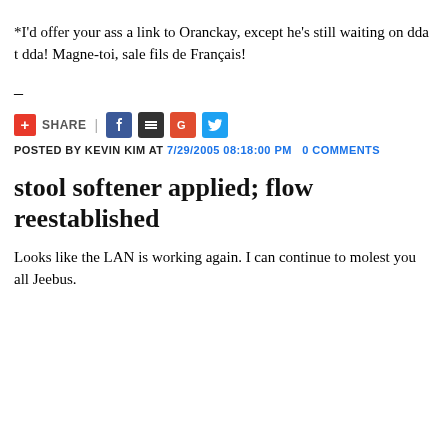*I'd offer your ass a link to Oranckay, except he's still waiting on dda t dda! Magne-toi, sale fils de Français!
–
+ SHARE | [social icons]
POSTED BY KEVIN KIM AT 7/29/2005 08:18:00 PM   0 COMMENTS
stool softener applied; flow reestablished
Looks like the LAN is working again. I can continue to molest you all Jeebus.